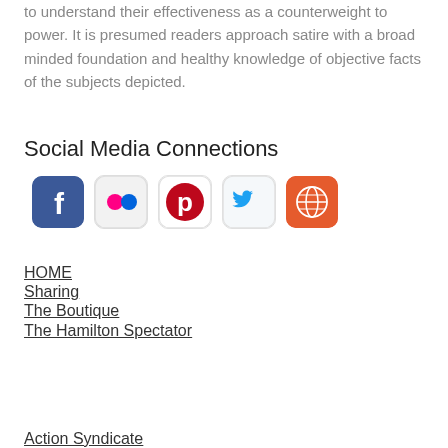to understand their effectiveness as a counterweight to power. It is presumed readers approach satire with a broad minded foundation and healthy knowledge of objective facts of the subjects depicted.
Social Media Connections
[Figure (infographic): Row of five social media icons: Facebook (blue rounded square with f), Flickr (light grey rounded square with pink/blue dots), Pinterest (white rounded square with red P logo), Twitter (light grey rounded square with blue bird), Web/Globe (red/orange rounded square with white globe grid icon)]
HOME
Sharing
The Boutique
The Hamilton Spectator
Action Syndicate